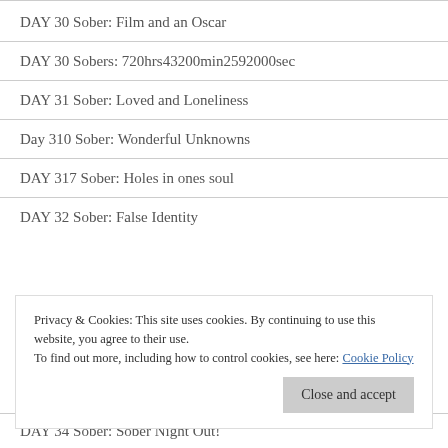DAY 30 Sober: Film and an Oscar
DAY 30 Sobers: 720hrs43200min2592000sec
DAY 31 Sober: Loved and Loneliness
Day 310 Sober: Wonderful Unknowns
DAY 317 Sober: Holes in ones soul
DAY 32 Sober: False Identity
Privacy & Cookies: This site uses cookies. By continuing to use this website, you agree to their use. To find out more, including how to control cookies, see here: Cookie Policy
DAY 34 Sober: Sober Night Out!